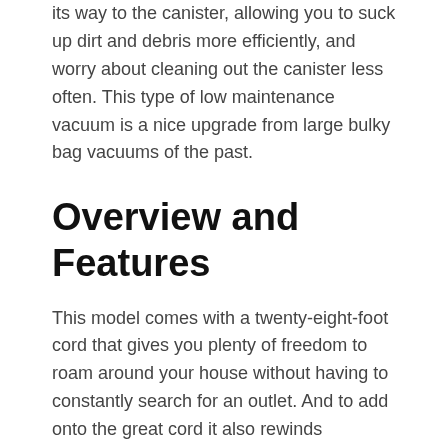its way to the canister, allowing you to suck up dirt and debris more efficiently, and worry about cleaning out the canister less often. This type of low maintenance vacuum is a nice upgrade from large bulky bag vacuums of the past.
Overview and Features
This model comes with a twenty-eight-foot cord that gives you plenty of freedom to roam around your house without having to constantly search for an outlet. And to add onto the great cord it also rewinds automatically.
The vacuum features three different levels of suction so you can remove dirt and pet hair more effectively, on a wide variety of surfaces including hardwood floors, tile, and shag carpet.